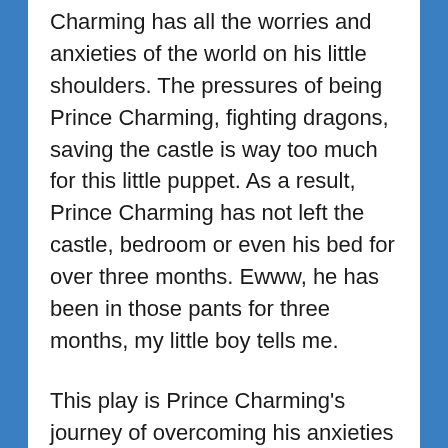Charming has all the worries and anxieties of the world on his little shoulders. The pressures of being Prince Charming, fighting dragons, saving the castle is way too much for this little puppet. As a result, Prince Charming has not left the castle, bedroom or even his bed for over three months. Ewww, he has been in those pants for three months, my little boy tells me.
This play is Prince Charming's journey of overcoming his anxieties and worries. He tackles scary dark rooms, flashing lights, dangerous quicksand, and the list went